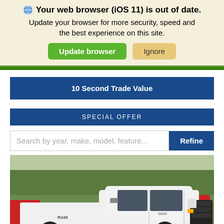🌐 Your web browser (iOS 11) is out of date. Update your browser for more security, speed and the best experience on this site. [Update browser] [Ignore]
10 Second Trade Value
SPECIAL OFFER
Search by year, make, model, feature... Refine
[Figure (photo): A white Ram 1500 pickup truck parked in a lot with trees and other vehicles in the background.]